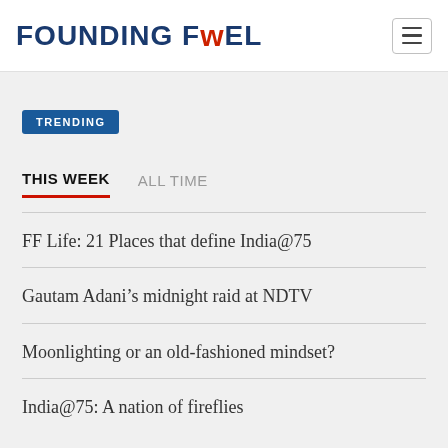FOUNDING FUEL
TRENDING
THIS WEEK   ALL TIME
FF Life: 21 Places that define India@75
Gautam Adani's midnight raid at NDTV
Moonlighting or an old-fashioned mindset?
India@75: A nation of fireflies